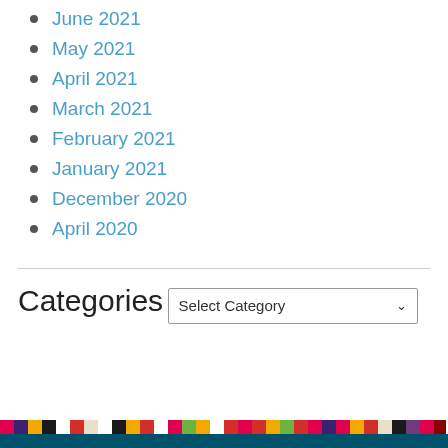June 2021
May 2021
April 2021
March 2021
February 2021
January 2021
December 2020
April 2020
Categories
Select Category